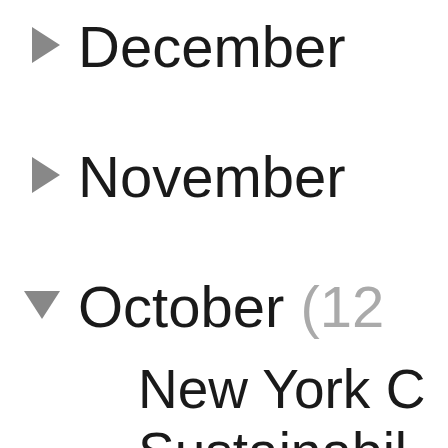December
November
October (12
New York C
Sustainabil